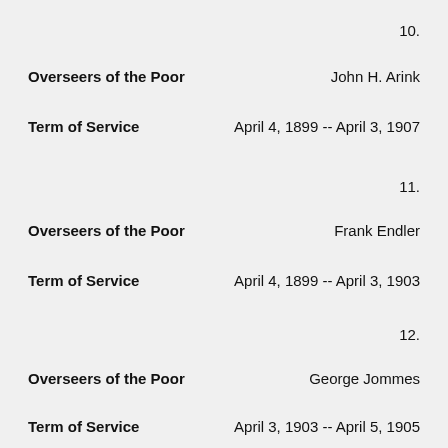10.
Overseers of the Poor    John H. Arink
Term of Service    April 4, 1899 -- April 3, 1907
11.
Overseers of the Poor    Frank Endler
Term of Service    April 4, 1899 -- April 3, 1903
12.
Overseers of the Poor    George Jommes
Term of Service    April 3, 1903 -- April 5, 1905